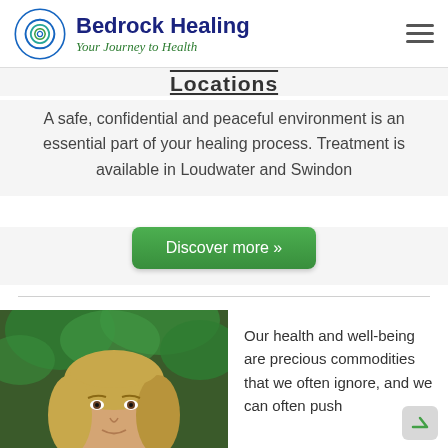Bedrock Healing – Your Journey to Health
Locations
A safe, confidential and peaceful environment is an essential part of your healing process. Treatment is available in Loudwater and Swindon
Discover more »
[Figure (photo): Portrait photo of a blonde woman outdoors with green foliage background]
Our health and well-being are precious commodities that we often ignore, and we can often push